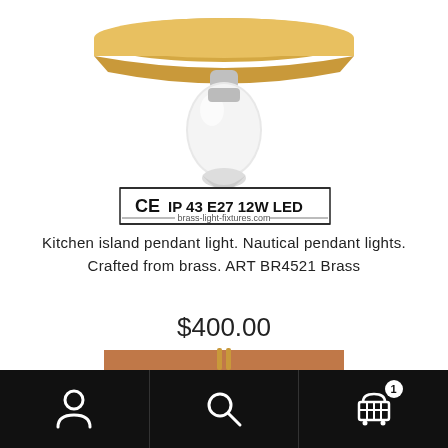[Figure (photo): Brass kitchen island pendant light with frosted bulb and CE IP43 E27 12W LED certification label from brass-light-fixtures.com]
Kitchen island pendant light. Nautical pendant lights. Crafted from brass. ART BR4521 Brass
$400.00
Add to cart
User icon, Search icon, Cart icon with badge 1